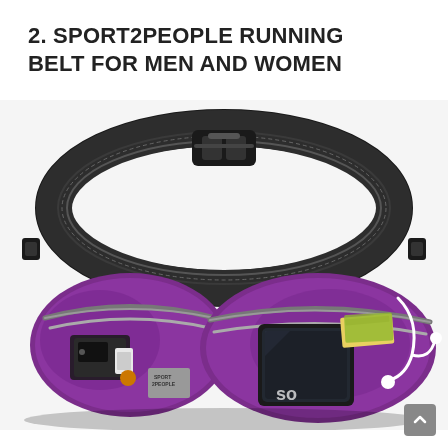2. SPORT2PEOPLE RUNNING BELT FOR MEN AND WOMEN
[Figure (photo): A purple Sport2People running belt for men and women displayed laid flat, showing two zippered pockets. The left pocket contains small accessories and the right pocket holds a smartphone, cash, and has white earphones attached. The belt has a black adjustable strap with a plastic buckle clasp at the top.]